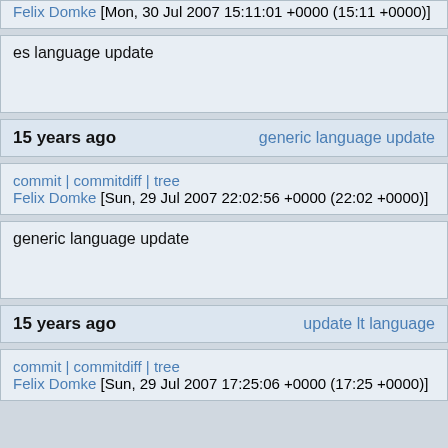Felix Domke [Mon, 30 Jul 2007 15:11:01 +0000 (15:11 +0000)]
es language update
15 years ago   generic language update
commit | commitdiff | tree
Felix Domke [Sun, 29 Jul 2007 22:02:56 +0000 (22:02 +0000)]
generic language update
15 years ago   update lt language
commit | commitdiff | tree
Felix Domke [Sun, 29 Jul 2007 17:25:06 +0000 (17:25 +0000)]